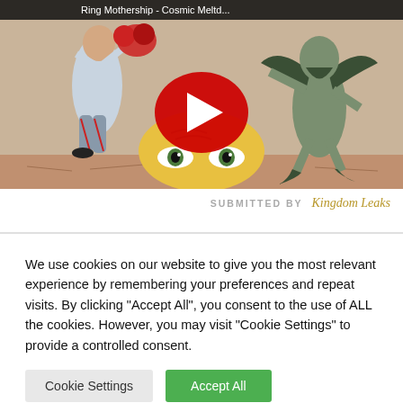[Figure (screenshot): YouTube video thumbnail showing medieval/Byzantine-style artwork with a figure holding a red object, a winged demon creature, and large eyes in the center. A red YouTube play button is overlaid in the center.]
SUBMITTED BY    Kingdom Leaks
We use cookies on our website to give you the most relevant experience by remembering your preferences and repeat visits. By clicking "Accept All", you consent to the use of ALL the cookies. However, you may visit "Cookie Settings" to provide a controlled consent.